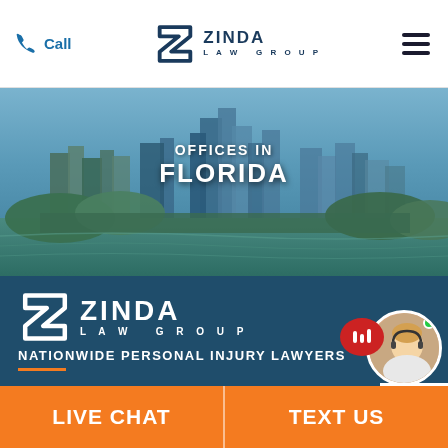Call | ZINDA LAW GROUP | [menu]
[Figure (photo): Aerial/skyline photo of Miami, Florida waterfront with tall buildings, blue sky, and water in foreground. Overlaid text reads OFFICES IN FLORIDA.]
OFFICES IN
FLORIDA
[Figure (logo): Zinda Law Group logo in white on dark teal background — stylized Z lettermark with ZINDA LAW GROUP text]
NATIONWIDE PERSONAL INJURY LAWYERS
Find the Compensation you...
LIVE CHAT | TEXT US